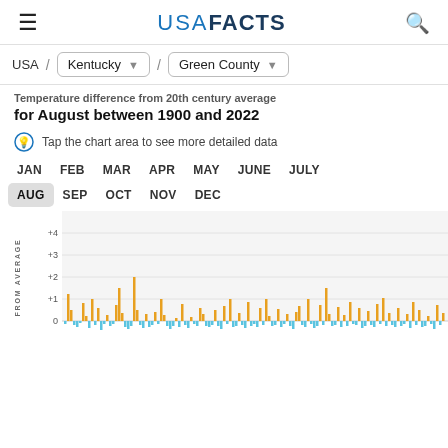USA FACTS
USA / Kentucky / Green County
Temperature difference from 20th century average for August between 1900 and 2022
Tap the chart area to see more detailed data
JAN FEB MAR APR MAY JUNE JULY AUG SEP OCT NOV DEC
[Figure (bar-chart): Bar chart showing temperature difference from 20th century average for August, 1900-2022. Bars are orange/amber for positive values and blue for negative values. Y-axis shows +4, +3, +2, +1, 0 and below. Most bars range between -1 and +2.5, with a few reaching near +2.5.]